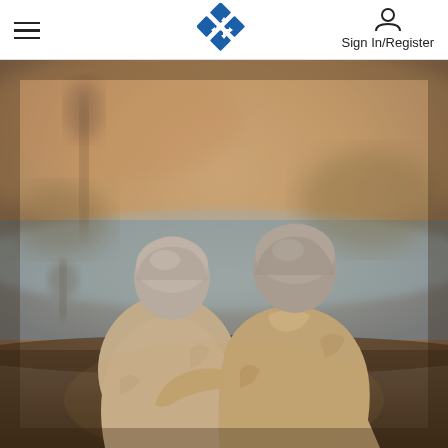Navigation header with hamburger menu, logo, and Sign In/Register
[Figure (photo): Elderly couple sitting together outdoors near a lake at sunset, viewed from behind, man has his arm around woman, both with gray hair, wearing light beige/tan clothing, soft warm bokeh background with water and trees]